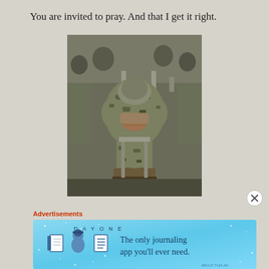You are invited to pray. And that I get it right.
[Figure (photo): A soldier in camouflage uniform sitting on a chair with head bowed and hands clasped together in prayer, surrounded by other uniformed personnel in the background]
Advertisements
[Figure (screenshot): DAY ONE journaling app advertisement banner reading 'The only journaling app you'll ever need.' with three small icons showing a notebook, a person, and a list]